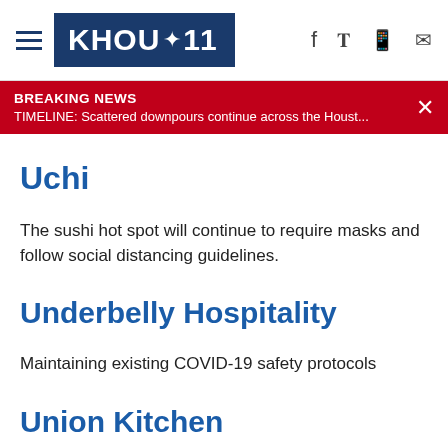KHOU 11
BREAKING NEWS
TIMELINE: Scattered downpours continue across the Houst...
Uchi
The sushi hot spot will continue to require masks and follow social distancing guidelines.
Underbelly Hospitality
Maintaining existing COVID-19 safety protocols
Union Kitchen